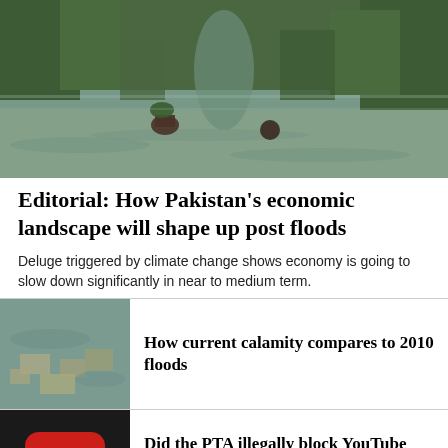[Figure (photo): People wading through floodwater in a green, vegetated area. Two figures are partially submerged, one carrying plants, in murky brown water surrounded by lush green trees and shrubs.]
Editorial: How Pakistan's economic landscape will shape up post floods
Deluge triggered by climate change shows economy is going to slow down significantly in near to medium term.
[Figure (photo): Aerial view of a flooded area with buildings and structures partially submerged in brown floodwater, reminiscent of the 2010 Pakistan floods.]
How current calamity compares to 2010 floods
[Figure (illustration): Dark background with a red YouTube play button icon with a heartbeat/EKG line running through it, and partial text 'YTB' at the bottom.]
Did the PTA illegally block YouTube during Imran Khan's speech?
Usama Khilji